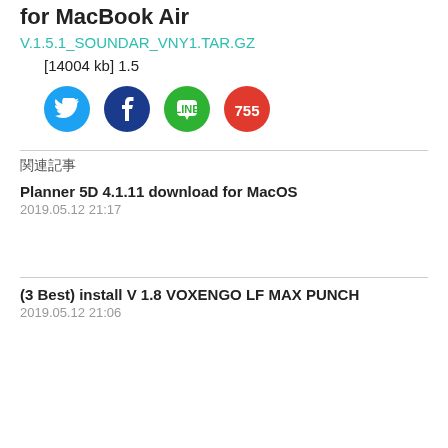for MacBook Air
V.1.5.1_SOUNDAR_VNY1.TAR.GZ
[14004 kb] 1.5
[Figure (illustration): Four social media share buttons: Twitter (blue bird), Facebook (dark blue), LINE (green chat bubble), 755 (red circle with number 755)]
関連記事
Planner 5D 4.1.11 download for MacOS
2019.05.12 21:17
(3 Best) install V 1.8 VOXENGO LF MAX PUNCH
2019.05.12 21:06